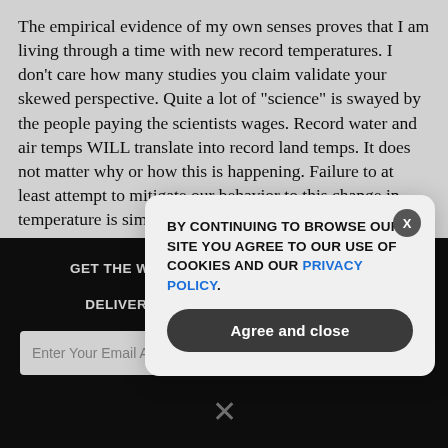The empirical evidence of my own senses proves that I am living through a time with new record temperatures. I don't care how many studies you claim validate your skewed perspective. Quite a lot of "science" is swayed by the people paying the scientists wages. Record water and air temps WILL translate into record land temps. It does not matter why or how this is happening. Failure to at least attempt to mitigate our behavior to this change in temperature is simply ignorant.
How some folks can get some things right, but fail completely when faced with other issues, like this site here is a product of the vast and successful information systems that lie to us on so
GET THE WORLD'S BEST NATURAL HEALTH NEWSLETTER DELIVERED STRAIGHT TO YOUR INBOX
Enter Your Email Address
SUBSCRIBE
[Figure (screenshot): Cookie consent modal overlay with text: BY CONTINUING TO BROWSE OUR SITE YOU AGREE TO OUR USE OF COOKIES AND OUR PRIVACY POLICY. with an Agree and close button and an X close button.]